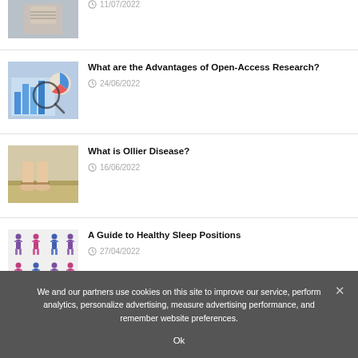[Figure (photo): Partial view of a baby/child in striped clothing, top of page]
11/07/2022
[Figure (photo): A magnifying glass over bar/pie charts on paper]
What are the Advantages of Open-Access Research?
24/06/2022
[Figure (photo): Feet/legs of a person standing on a floor, possibly showing disease symptoms]
What is Ollier Disease?
16/06/2022
[Figure (illustration): Grid of illustrated human figures showing various sleep positions]
A Guide to Healthy Sleep Positions
27/04/2022
We and our partners use cookies on this site to improve our service, perform analytics, personalize advertising, measure advertising performance, and remember website preferences.
Ok